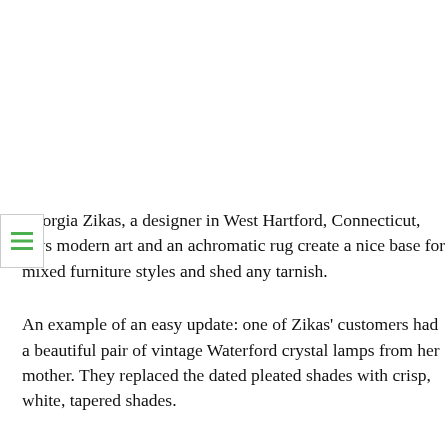Georgia Zikas, a designer in West Hartford, Connecticut, says modern art and an achromatic rug create a nice base for mixed furniture styles and shed any tarnish.
An example of an easy update: one of Zikas' customers had a beautiful pair of vintage Waterford crystal lamps from her mother. They replaced the dated pleated shades with crisp, white, tapered shades.
REGIONAL FOCUS
Different parts of the country seem to lean in certain directions when it comes to antiques.
*For example, in the South, where I'm based, French antiques are